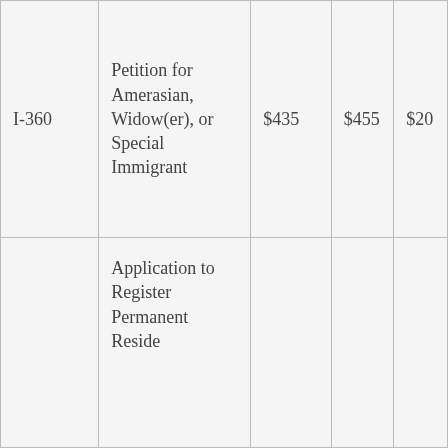| I-360 | Petition for Amerasian, Widow(er), or Special Immigrant | $435 | $455 | $20 |
|  | Application to Register Permanent Reside... |  |  |  |